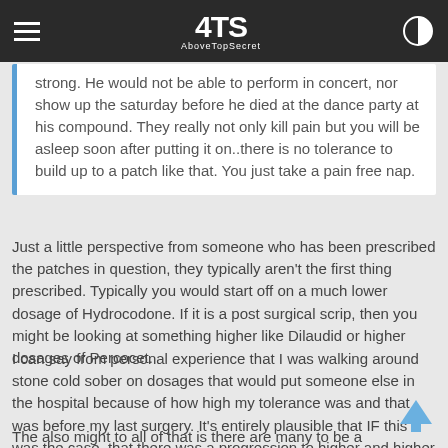AboveTopSecret (4TS) navigation bar
strong. He would not be able to perform in concert, nor show up the saturday before he died at the dance party at his compound. They really not only kill pain but you will be asleep soon after putting it on..there is no tolerance to build up to a patch like that. You just take a pain free nap.
Just a little perspective from someone who has been prescribed the patches in question, they typically aren't the first thing prescribed. Typically you would start off on a much lower dosage of Hydrocodone. If it is a post surgical scrip, then you might be looking at something higher like Dilaudid or higher dosages of Percocet.
I can say from personal experience that I was walking around stone cold sober on dosages that would put someone else in the hospital because of how high my tolerance was and that was before my last surgery. It's entirely plausible that IF this was the case, that there was a progression to higher and higher dosages gradually.
The also might to all of that is there are many to be a given